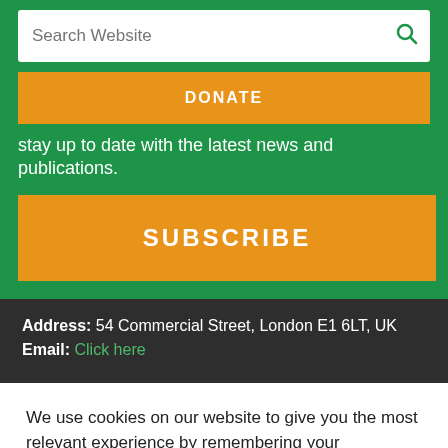Search Website
DONATE
stay up to date with the latest news and publications.
SUBSCRIBE
Address: 54 Commercial Street, London E1 6LT, UK
Email: Click here
We use cookies on our website to give you the most relevant experience by remembering your preferences and repeat visits. By clicking 'Accept', you consent to the use of all the cookies.
Cookie settings
ACCEPT